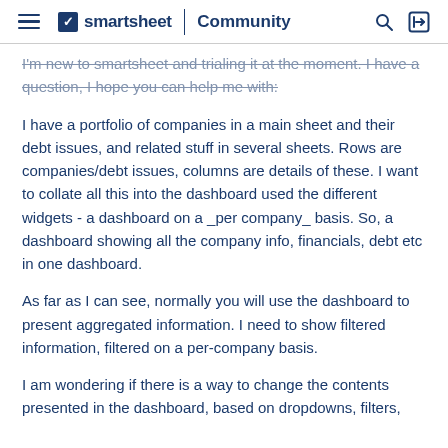smartsheet | Community
I'm new to smartsheet and trialing it at the moment. I have a question, I hope you can help me with:
I have a portfolio of companies in a main sheet and their debt issues, and related stuff in several sheets. Rows are companies/debt issues, columns are details of these. I want to collate all this into the dashboard used the different widgets - a dashboard on a _per company_ basis. So, a dashboard showing all the company info, financials, debt etc in one dashboard.
As far as I can see, normally you will use the dashboard to present aggregated information. I need to show filtered information, filtered on a per-company basis.
I am wondering if there is a way to change the contents presented in the dashboard, based on dropdowns, filters,